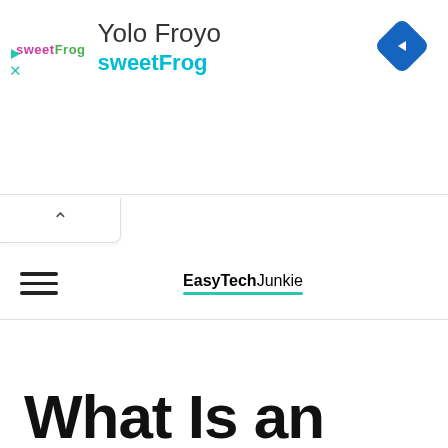[Figure (infographic): Advertisement banner for Yolo Froyo at sweetFrog with logo, navigation arrow diamond icon, play and close controls]
EasyTechJunkie
What Is an Informa...